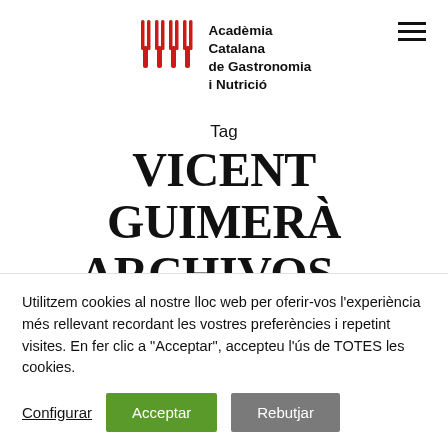[Figure (logo): Academia Catalana de Gastronomia i Nutrició logo with red fork icons and bold text]
Tag
VICENT GUIMERÀ ARCHIVOS – ACADÈMIA CATALANA DE
Utilitzem cookies al nostre lloc web per oferir-vos l'experiència més rellevant recordant les vostres preferències i repetint visites. En fer clic a "Acceptar", accepteu l'ús de TOTES les cookies.
Configurar
Acceptar
Rebutjar